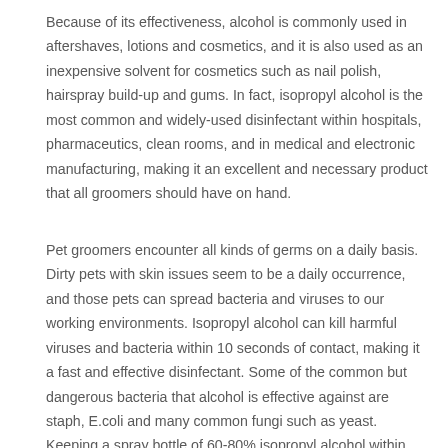Because of its effectiveness, alcohol is commonly used in aftershaves, lotions and cosmetics, and it is also used as an inexpensive solvent for cosmetics such as nail polish, hairspray build-up and gums. In fact, isopropyl alcohol is the most common and widely-used disinfectant within hospitals, pharmaceutics, clean rooms, and in medical and electronic manufacturing, making it an excellent and necessary product that all groomers should have on hand.
Pet groomers encounter all kinds of germs on a daily basis. Dirty pets with skin issues seem to be a daily occurrence, and those pets can spread bacteria and viruses to our working environments. Isopropyl alcohol can kill harmful viruses and bacteria within 10 seconds of contact, making it a fast and effective disinfectant. Some of the common but dangerous bacteria that alcohol is effective against are staph, E.coli and many common fungi such as yeast. Keeping a spray bottle of 60-80% isopropyl alcohol within reach is a great way to disinfect table surfaces, tools and tubs.